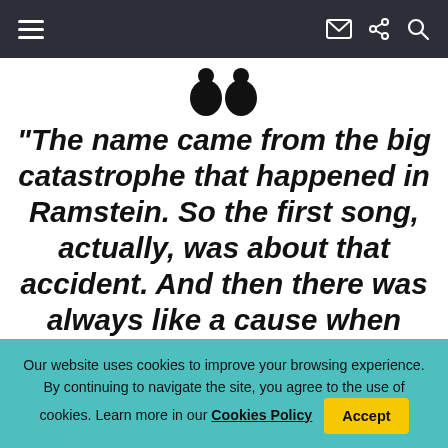Navigation bar with hamburger menu, email, share, and search icons
[Figure (illustration): Large decorative open quotation marks in dark/black color]
“The name came from the big catastrophe that happened in Ramstein. So the first song, actually, was about that accident. And then there was always like a cause when they’d say: “Ramstein, Ramstein!” So it
Our website uses cookies to improve your browsing experience. By continuing to navigate the site, you agree to the use of cookies. Learn more in our Cookies Policy  Accept